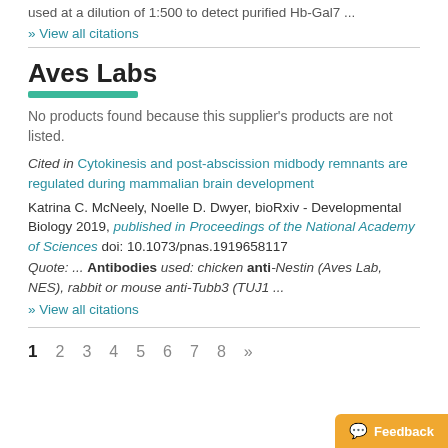used at a dilution of 1:500 to detect purified Hb-Gal7 ...
» View all citations
Aves Labs
No products found because this supplier's products are not listed.
Cited in Cytokinesis and post-abscission midbody remnants are regulated during mammalian brain development
Katrina C. McNeely, Noelle D. Dwyer, bioRxiv - Developmental Biology 2019, published in Proceedings of the National Academy of Sciences doi: 10.1073/pnas.1919658117
Quote: ... Antibodies used: chicken anti-Nestin (Aves Lab, NES), rabbit or mouse anti-Tubb3 (TUJ1 ...
» View all citations
1 2 3 4 5 6 7 8 »